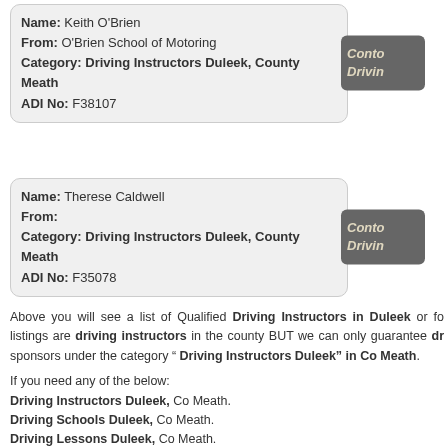Name: Keith O'Brien
From: O'Brien School of Motoring
Category: Driving Instructors Duleek, County Meath
ADI No: F38107
Name: Therese Caldwell
From:
Category: Driving Instructors Duleek, County Meath
ADI No: F35078
Above you will see a list of Qualified Driving Instructors in Duleek or fo... listings are driving instructors in the county BUT we can only guarantee dr... sponsors under the category " Driving Instructors Duleek" in Co Meath.
If you need any of the below:
Driving Instructors Duleek, Co Meath.
Driving Schools Duleek, Co Meath.
Driving Lessons Duleek, Co Meath.
But can not find one, then please let us help!
If you would like to contact us please do so and we will help in any way we ca...
Brian
DrivingInfo